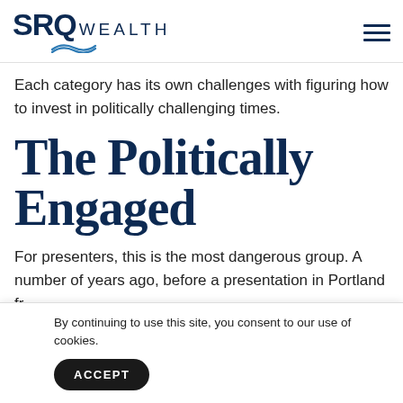SRQ WEALTH
Each category has its own challenges with figuring how to invest in politically challenging times.
The Politically Engaged
For presenters, this is the most dangerous group. A number of years ago, before a presentation in Portland fr... a...
By continuing to use this site, you consent to our use of cookies.